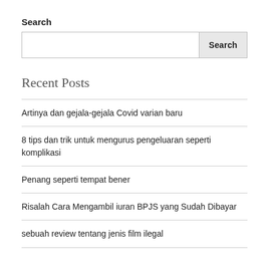Search
Search input and button
Recent Posts
Artinya dan gejala-gejala Covid varian baru
8 tips dan trik untuk mengurus pengeluaran seperti komplikasi
Penang seperti tempat bener
Risalah Cara Mengambil iuran BPJS yang Sudah Dibayar
sebuah review tentang jenis film ilegal